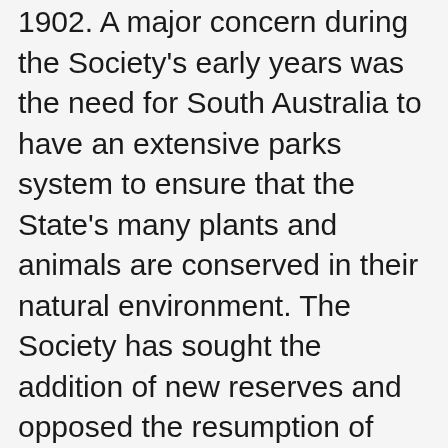1902. A major concern during the Society's early years was the need for South Australia to have an extensive parks system to ensure that the State's many plants and animals are conserved in their natural environment. The Society has sought the addition of new reserves and opposed the resumption of existing reserves when necessary. It has been Society policy to put its case objectively, based on the facts available.
In many cases it has been necessary to carry out field studies in the areas in question, and since 1966 the Society has conducted over 50 biological surveys across the State. These surveys were carried out by members and